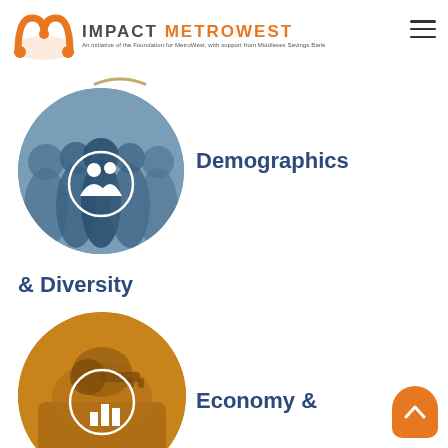[Figure (logo): Impact MetroWest logo with orange M-shaped icon and text 'IMPACT METROWEST'. Subtitle: 'An initiative of the Foundation for MetroWest, with support from Middlesex Savings Bank']
[Figure (photo): Circular photo of a diverse group of people with a white silhouette icon of two people overlaid in the center, in blue-grey tones]
Demographics & Diversity
[Figure (photo): Circular photo of hands holding a key or tool with a white bar chart icon overlaid in the center, in orange/amber tones]
Economy &